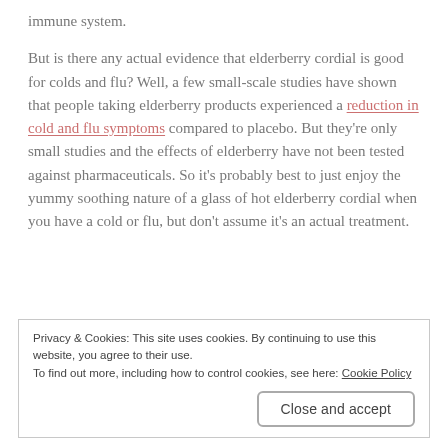immune system.
But is there any actual evidence that elderberry cordial is good for colds and flu? Well, a few small-scale studies have shown that people taking elderberry products experienced a reduction in cold and flu symptoms compared to placebo. But they're only small studies and the effects of elderberry have not been tested against pharmaceuticals. So it's probably best to just enjoy the yummy soothing nature of a glass of hot elderberry cordial when you have a cold or flu, but don't assume it's an actual treatment.
Privacy & Cookies: This site uses cookies. By continuing to use this website, you agree to their use.
To find out more, including how to control cookies, see here: Cookie Policy